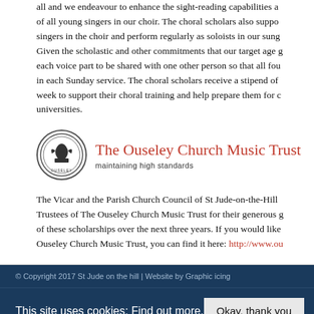all and we endeavour to enhance the sight-reading capabilities and of all young singers in our choir. The choral scholars also support singers in the choir and perform regularly as soloists in our sung Given the scholastic and other commitments that our target age g each voice part to be shared with one other person so that all fou in each Sunday service. The choral scholars receive a stipend of week to support their choral training and help prepare them for c universities.
[Figure (logo): The Ouseley Church Music Trust logo with circular emblem and text 'maintaining high standards']
The Vicar and the Parish Church Council of St Jude-on-the-Hill Trustees of The Ouseley Church Music Trust for their generous g of these scholarships over the next three years. If you would like Ouseley Church Music Trust, you can find it here: http://www.ou
© Copyright 2017 St Jude on the hill | Website by Graphic icing
This site uses cookies: Find out more.